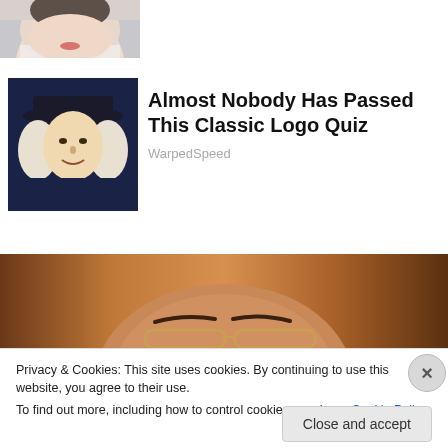[Figure (photo): Top portion of a woman's face and hair, partially cropped]
[Figure (illustration): Thumbnail image of a colonial-era figure with white wig and hat on dark background]
Almost Nobody Has Passed This Classic Logo Quiz
WarpedSpeed
[Figure (photo): Close-up photo of a man's forehead and eyes with glasses, warm brown tones]
Privacy & Cookies: This site uses cookies. By continuing to use this website, you agree to their use.
To find out more, including how to control cookies, see here: Cookie Policy
Close and accept